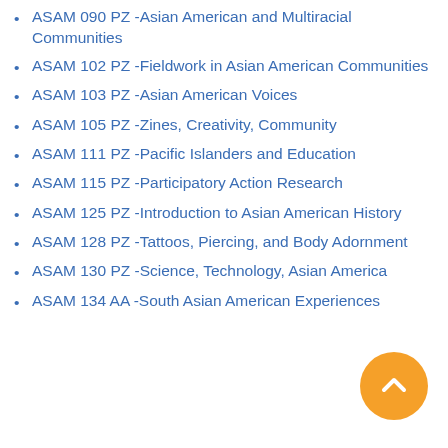ASAM 090 PZ -Asian American and Multiracial Communities
ASAM 102 PZ -Fieldwork in Asian American Communities
ASAM 103 PZ -Asian American Voices
ASAM 105 PZ -Zines, Creativity, Community
ASAM 111 PZ -Pacific Islanders and Education
ASAM 115 PZ -Participatory Action Research
ASAM 125 PZ -Introduction to Asian American History
ASAM 128 PZ -Tattoos, Piercing, and Body Adornment
ASAM 130 PZ -Science, Technology, Asian America
ASAM 134 AA -South Asian American Experiences